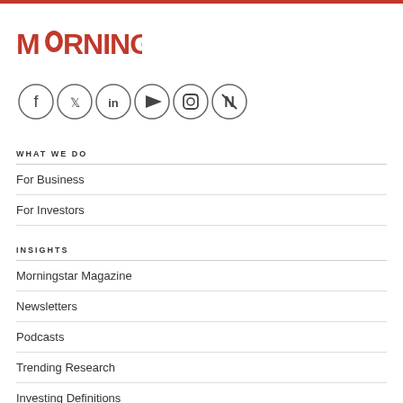[Figure (logo): Morningstar logo in red]
[Figure (infographic): Row of 6 social media icons in circles: Facebook, Twitter, LinkedIn, YouTube, Instagram, Apple News]
WHAT WE DO
For Business
For Investors
INSIGHTS
Morningstar Magazine
Newsletters
Podcasts
Trending Research
Investing Definitions